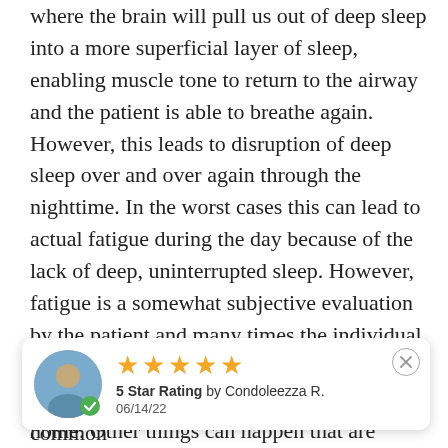where the brain will pull us out of deep sleep into a more superficial layer of sleep, enabling muscle tone to return to the airway and the patient is able to breathe again. However, this leads to disruption of deep sleep over and over again through the nighttime. In the worst cases this can lead to actual fatigue during the day because of the lack of deep, uninterrupted sleep. However, fatigue is a somewhat subjective evaluation by the patient and many times the individual will deny fatigue or put it onto some other reason such as pressure at work or issues at home. Other things can happen that are manifestations of this problem such as lack of attention span concentration difficulties. We especially see these in
[Figure (other): Review card overlay with avatar icon (person silhouette), 5 gold stars, '5 Star Rating by Condoleezza R.' and date '06/14/22', with a close (X) button]
common